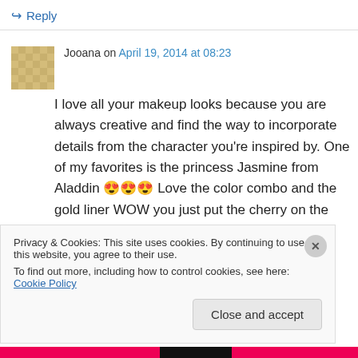↪ Reply
Jooana on April 19, 2014 at 08:23
I love all your makeup looks because you are always creative and find the way to incorporate details from the character you're inspired by. One of my favorites is the princess Jasmine from Aladdin 😍😍😍 Love the color combo and the gold liner WOW you just put the cherry on the top!!
Privacy & Cookies: This site uses cookies. By continuing to use this website, you agree to their use.
To find out more, including how to control cookies, see here: Cookie Policy
Close and accept